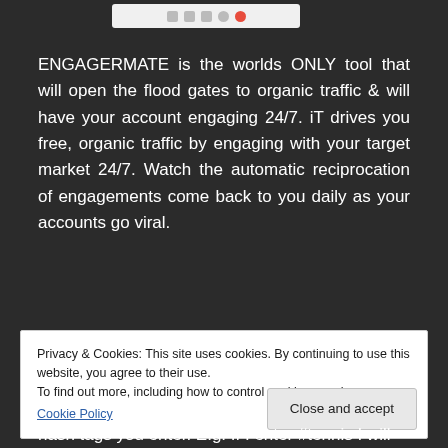[Figure (screenshot): Browser toolbar strip at top of page]
ENGAGERMATE is the worlds ONLY tool that will open the flood gates to organic traffic & will have your account engaging 24/7. iT drives you free, organic traffic by engaging with your target market 24/7. Watch the automatic reciprocation of engagements come back to you daily as your accounts go viral.
Privacy & Cookies: This site uses cookies. By continuing to use this website, you agree to their use.
To find out more, including how to control cookies, see here:
Cookie Policy
hash tags you enter. E.g. If I enter #tennis I will